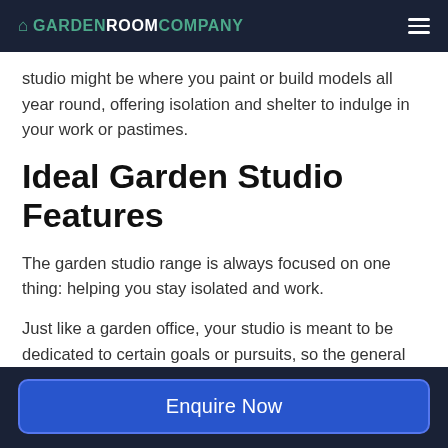GARDEN ROOM COMPANY
studio might be where you paint or build models all year round, offering isolation and shelter to indulge in your work or pastimes.
Ideal Garden Studio Features
The garden studio range is always focused on one thing: helping you stay isolated and work.
Just like a garden office, your studio is meant to be dedicated to certain goals or pursuits, so the general design and the equipment inside will depend on the person using it. Tailor it to your hobbies or work.
Enquire Now